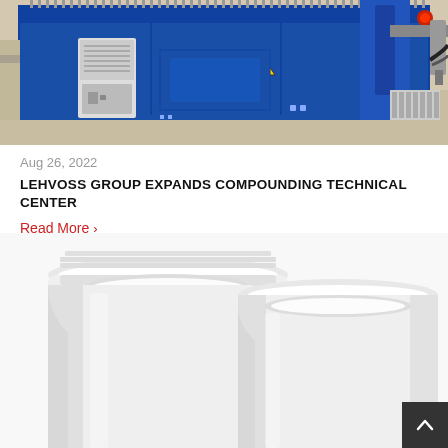[Figure (photo): Industrial blue compounding machine in a factory setting, with a white air conditioning unit attached to the front panel and various mechanical components visible.]
Aug 26, 2022
LEHVOSS GROUP EXPANDS COMPOUNDING TECHNICAL CENTER
Read More >
[Figure (photo): Two white plastic jars/containers viewed from above and slightly to the side, showing the open tops of the containers against a white background.]